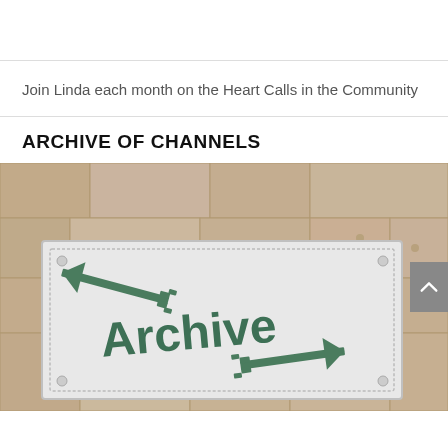Join Linda each month on the Heart Calls in the Community
ARCHIVE OF CHANNELS
[Figure (photo): A stone wall with a white rectangular sign mounted on it. The sign has a green arrow painted on it and reads 'Archive' in green lettering with another green arrow pointing right.]